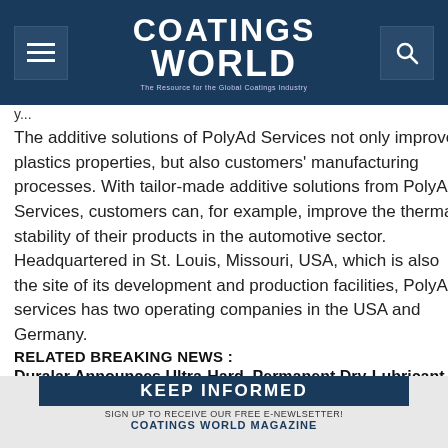Coatings World — The Resource for the Global Coatings Industry
y...
The additive solutions of PolyAd Services not only improve plastics properties, but also customers' manufacturing processes. With tailor-made additive solutions from PolyAd Services, customers can, for example, improve the thermal stability of their products in the automotive sector. Headquartered in St. Louis, Missouri, USA, which is also the site of its development and production facilities, PolyAd services has two operating companies in the USA and Germany.
RELATED BREAKING NEWS :
Duralar Announces Ultra-Hard, Permanent Dry-Lubricant
[Figure (infographic): Newsletter sign-up banner: KEEP INFORMED — SIGN UP TO RECEIVE OUR FREE E-NEWLSETTER! COATINGS WORLD MAGAZINE]